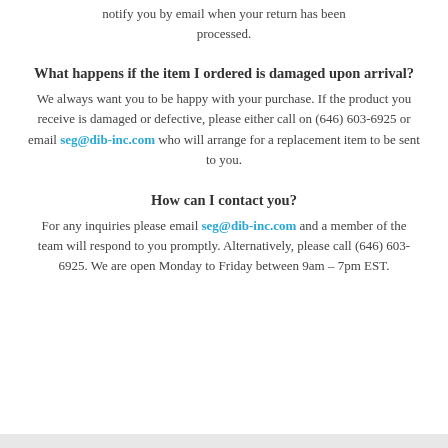notify you by email when your return has been processed.
What happens if the item I ordered is damaged upon arrival?
We always want you to be happy with your purchase. If the product you receive is damaged or defective, please either call on (646) 603-6925 or email seg@dib-inc.com who will arrange for a replacement item to be sent to you.
How can I contact you?
For any inquiries please email seg@dib-inc.com and a member of the team will respond to you promptly. Alternatively, please call (646) 603-6925. We are open Monday to Friday between 9am – 7pm EST.